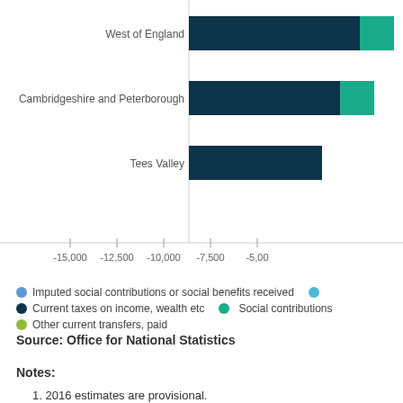[Figure (bar-chart): Payments breakdown by region (partial view)]
Imputed social contributions or social benefits received   Current taxes on income, wealth etc   Social contributions   Other current transfers, paid
Source: Office for National Statistics
Notes:
1. 2016 estimates are provisional.